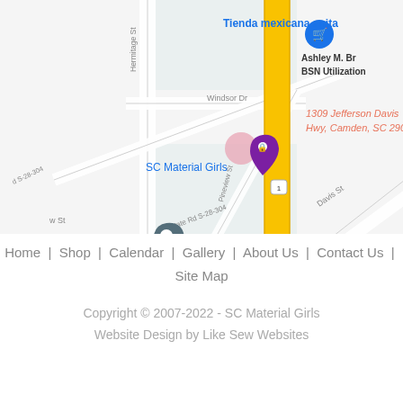[Figure (map): Google Maps screenshot showing area around 1309 Jefferson Davis Hwy, Camden, SC 29020. Shows markers for Tienda mexicana anita, SC Material Girls, Camden (hotel), Lee's Auto Sales, and other businesses. Roads visible include Hermitage St, Windsor Dr, State Rd S-28-304, Davis St, Pineview St. A yellow highway (US 1) runs vertically.]
Home | Shop | Calendar | Gallery | About Us | Contact Us | Site Map
Copyright © 2007-2022 - SC Material Girls
Website Design by Like Sew Websites